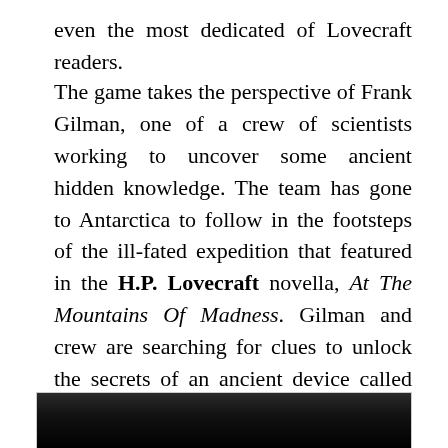even the most dedicated of Lovecraft readers.
The game takes the perspective of Frank Gilman, one of a crew of scientists working to uncover some ancient hidden knowledge. The team has gone to Antarctica to follow in the footsteps of the ill-fated expedition that featured in the H.P. Lovecraft novella, At The Mountains Of Madness. Gilman and crew are searching for clues to unlock the secrets of an ancient device called the conarium. As the story progresses and the history of the device begins to unfold, Gilman finds himself in an elaborate and maddening set of circumstances.
[Figure (photo): Dark atmospheric image, likely a screenshot from the game Conarium, showing a dimly lit scene.]